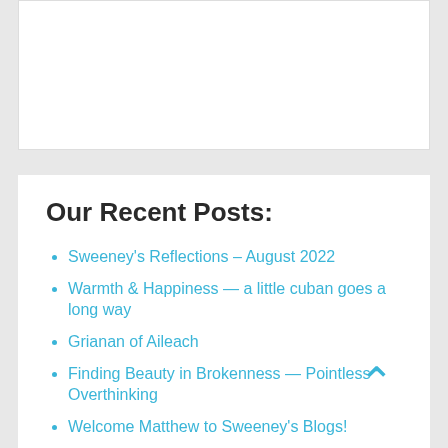Our Recent Posts:
Sweeney's Reflections – August 2022
Warmth & Happiness — a little cuban goes a long way
Grianan of Aileach
Finding Beauty in Brokenness — Pointless Overthinking
Welcome Matthew to Sweeney's Blogs!